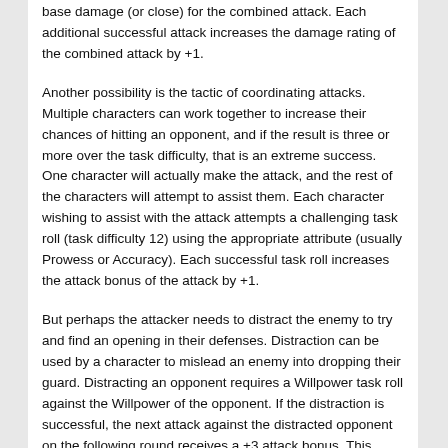base damage (or close) for the combined attack. Each additional successful attack increases the damage rating of the combined attack by +1.
Another possibility is the tactic of coordinating attacks. Multiple characters can work together to increase their chances of hitting an opponent, and if the result is three or more over the task difficulty, that is an extreme success. One character will actually make the attack, and the rest of the characters will attempt to assist them. Each character wishing to assist with the attack attempts a challenging task roll (task difficulty 12) using the appropriate attribute (usually Prowess or Accuracy). Each successful task roll increases the attack bonus of the attack by +1.
But perhaps the attacker needs to distract the enemy to try and find an opening in their defenses. Distraction can be used by a character to mislead an enemy into dropping their guard. Distracting an opponent requires a Willpower task roll against the Willpower of the opponent. If the distraction is successful, the next attack against the distracted opponent on the following round receives a +3 attack bonus. This might be enough to result in an